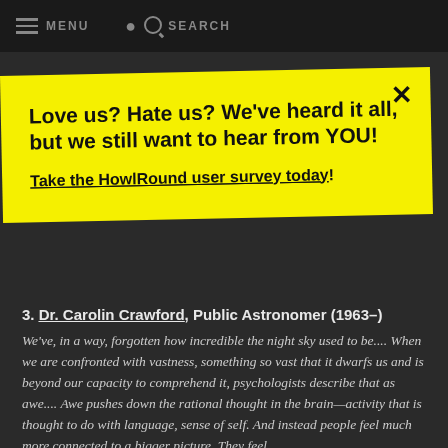MENU   SEARCH
Love us? Hate us? We've heard it all, but we still want to hear from YOU!

Take the HowlRound user survey today!
3. Dr. Carolin Crawford, Public Astronomer (1963–)
We've, in a way, forgotten how incredible the night sky used to be.... When we are confronted with vastness, something so vast that it dwarfs us and is beyond our capacity to comprehend it, psychologists describe that as awe.... Awe pushes down the rational thought in the brain—activity that is thought to do with language, sense of self. And instead people feel much more connected to a bigger picture. They feel...